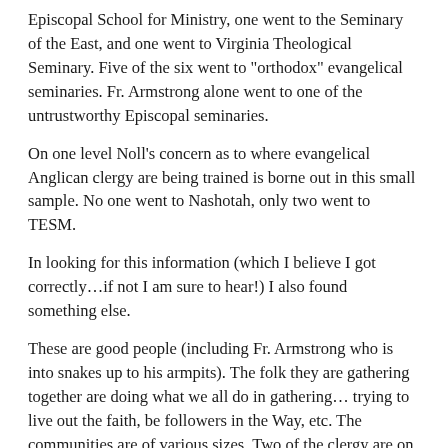Episcopal School for Ministry, one went to the Seminary of the East, and one went to Virginia Theological Seminary. Five of the six went to "orthodox" evangelical seminaries. Fr. Armstrong alone went to one of the untrustworthy Episcopal seminaries.
On one level Noll's concern as to where evangelical Anglican clergy are being trained is borne out in this small sample. No one went to Nashotah, only two went to TESM.
In looking for this information (which I believe I got correctly…if not I am sure to hear!) I also found something else.
These are good people (including Fr. Armstrong who is into snakes up to his armpits). The folk they are gathering together are doing what we all do in gathering… trying to live out the faith, be followers in the Way, etc. The communities are of various sizes. Two of the clergy are on Louie Crew's list of Black Clergy. Several are only recently ordained. There are no women among them. I am not sure if there are any in CANA at all. (I am sure again that someone will tell me if there are. In fact, it would be helpful if the CANA website would list the congregations and clergy that now belong.)